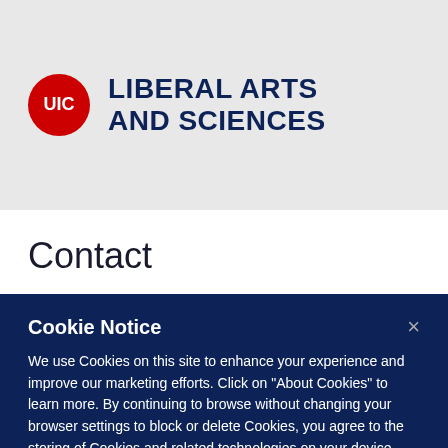[Figure (logo): UIC Liberal Arts and Sciences logo with red circular UIC emblem and dark navy text reading LIBERAL ARTS AND SCIENCES]
Contact
Cookie Notice
We use Cookies on this site to enhance your experience and improve our marketing efforts. Click on “About Cookies” to learn more. By continuing to browse without changing your browser settings to block or delete Cookies, you agree to the storing of Cookies and related technologies on your device. University of Illinois System Cookie Policy
About Cookies
Close this Notice